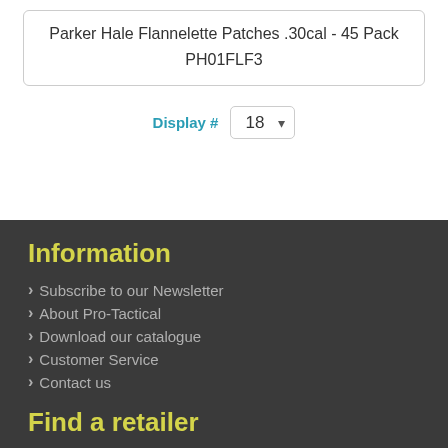Parker Hale Flannelette Patches .30cal - 45 Pack
PH01FLF3
Display # 18
Information
Subscribe to our Newsletter
About Pro-Tactical
Download our catalogue
Customer Service
Contact us
Find a retailer